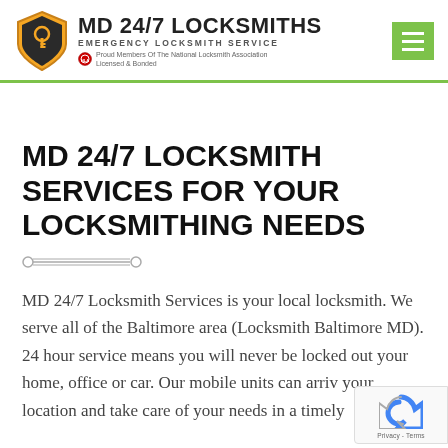[Figure (logo): MD 24/7 Locksmiths logo with shield icon, company name, tagline 'Emergency Locksmith Service', and 'Proud Members Of The National Locksmith Association Licensed & Bonded']
MD 24/7 LOCKSMITH SERVICES FOR YOUR LOCKSMITHING NEEDS
MD 24/7 Locksmith Services is your local locksmith. We serve all of the Baltimore area (Locksmith Baltimore MD). 24 hour service means you will never be locked out your home, office or car. Our mobile units can arrive your location and take care of your needs in a timely